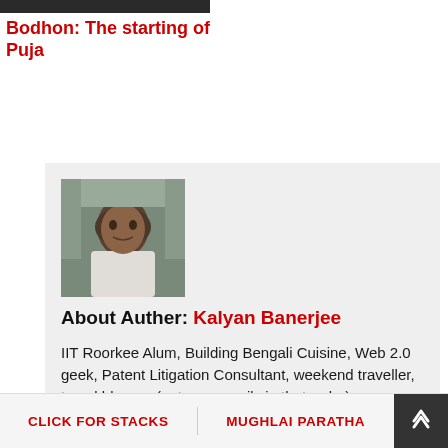[Figure (photo): Small thumbnail image at top left, dark/blurred]
Bodhon: The starting of Puja
[Figure (photo): Portrait photo of Kalyan Banerjee, a man with dark hair outdoors]
About Auther: Kalyan Banerjee
IIT Roorkee Alum, Building Bengali Cuisine, Web 2.0 geek, Patent Litigation Consultant, weekend traveller, travel blogger (not necessarily in that order)
CLICK FOR STACKS   MUGHLAI PARATHA